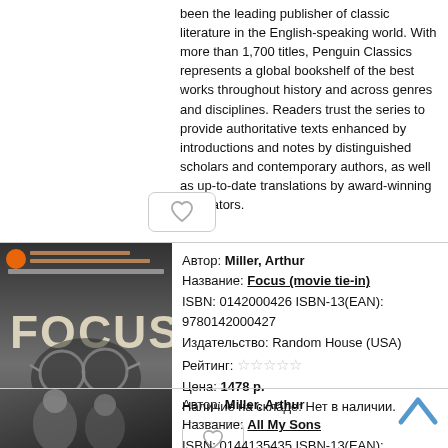been the leading publisher of classic literature in the English-speaking world. With more than 1,700 titles, Penguin Classics represents a global bookshelf of the best works throughout history and across genres and disciplines. Readers trust the series to provide authoritative texts enhanced by introductions and notes by distinguished scholars and contemporary authors, as well as up-to-date translations by award-winning translators.
[Figure (other): Heart/favorite button (outline heart icon)]
[Figure (photo): Book cover for Focus (movie tie-in) by Arthur Miller — dark grayscale photo of a man with glasses]
Автор: Miller, Arthur
Название: Focus (movie tie-in)
ISBN: 0142000426 ISBN-13(EAN): 9780142000427
Издательство: Random House (USA)
Рейтинг: ☆☆☆☆☆
Цена: 1478 р.
Наличие на складе: Нет в наличии.
[Figure (other): Heart/favorite button (outline heart icon)]
[Figure (photo): Book cover for All My Sons by Arthur Miller — black and white photo]
Автор: Miller, Arthur
Название: All My Sons
ISBN: 0144135435 ISBN-13(EAN):